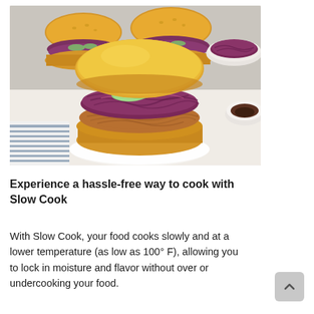[Figure (photo): Food photography showing a BBQ pulled chicken (or pork) sandwich with purple coleslaw and pickles on a brioche bun, served on a white plate. Two more sandwiches in the background on a grey surface. A white bowl of BBQ sauce visible on the right. Striped kitchen towel in the lower left.]
Experience a hassle-free way to cook with Slow Cook
With Slow Cook, your food cooks slowly and at a lower temperature (as low as 100° F), allowing you to lock in moisture and flavor without over or undercooking your food.